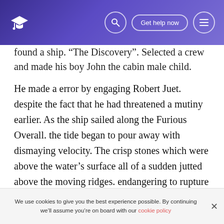Get help now
found a ship. "The Discovery". Selected a crew and made his boy John the cabin male child.
He made a error by engaging Robert Juet. despite the fact that he had threatened a mutiny earlier. As the ship sailed along the Furious Overall. the tide began to pour away with dismaying velocity. The crisp stones which were above the water's surface all of a sudden jutted above the moving ridges. endangering to rupture the boat. The crewmans begged Hudson to turn back. but he failed to listen. They sailed on for six hebdomads. and managed through the Furious Overall and came to a broad infinite. which they
We use cookies to give you the best experience possible. By continuing we'll assume you're on board with our cookie policy